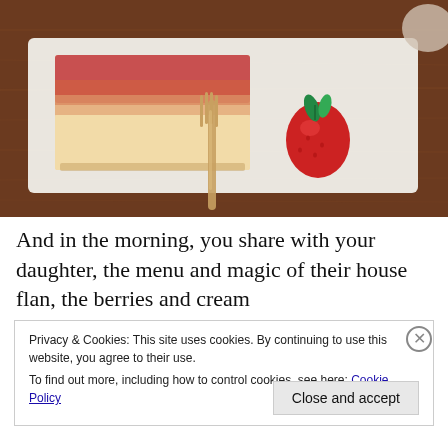[Figure (photo): Photo of a dessert plate on a wooden table. A rectangular slice of flan with pink/reddish glaze on a white plate, accompanied by a strawberry garnished with a mint leaf. A fork rests on the wooden table in the foreground.]
And in the morning, you share with your daughter, the menu and magic of their house flan, the berries and cream
Privacy & Cookies: This site uses cookies. By continuing to use this website, you agree to their use.
To find out more, including how to control cookies, see here: Cookie Policy